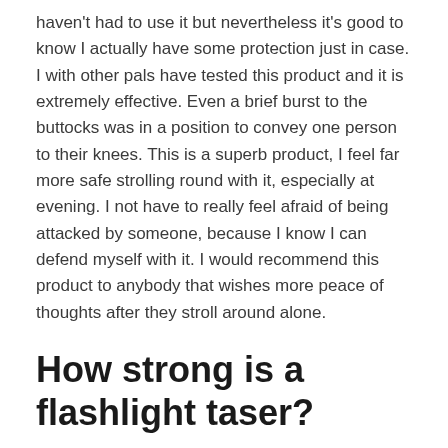haven't had to use it but nevertheless it's good to know I actually have some protection just in case. I with other pals have tested this product and it is extremely effective. Even a brief burst to the buttocks was in a position to convey one person to their knees. This is a superb product, I feel far more safe strolling round with it, especially at evening. I not have to really feel afraid of being attacked by someone, because I know I can defend myself with it. I would recommend this product to anybody that wishes more peace of thoughts after they stroll around alone.
How strong is a flashlight taser?
Powerful 80 Lumen Flashlight – helps you find your way (or your keys). Deter intruders or let a would-be attacker know you mean business with the touch of a button. Keep your attackers at bay when a close interaction is unavoidable with the Strikelight's contact stun feature.
Stun guns use either rechargeable lithium ion batteries or